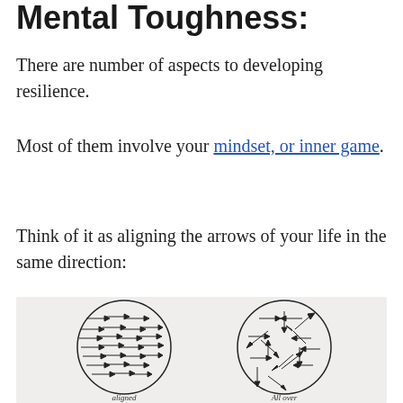Mental Toughness:
There are number of aspects to developing resilience.
Most of them involve your mindset, or inner game.
Think of it as aligning the arrows of your life in the same direction:
[Figure (illustration): Two circles side by side on a light gray background. Left circle contains many arrows all pointing roughly in the same rightward direction (aligned). Right circle contains arrows pointing in many different chaotic directions (misaligned). Below the left circle is handwritten text 'aligned' and below the right circle is handwritten text 'All over'.]